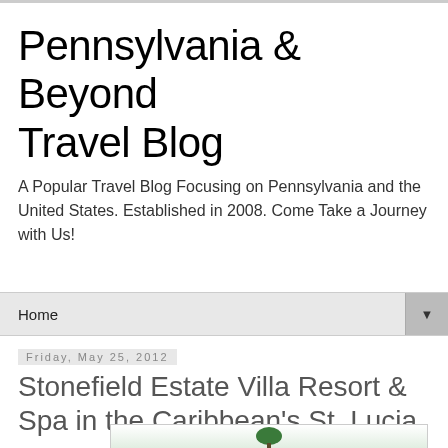Pennsylvania & Beyond Travel Blog
A Popular Travel Blog Focusing on Pennsylvania and the United States. Established in 2008. Come Take a Journey with Us!
Home ▼
Friday, May 25, 2012
Stonefield Estate Villa Resort & Spa in the Caribbean's St. Lucia
[Figure (photo): Partial image visible at bottom of page, appears to be a green tree or plant icon on white background]